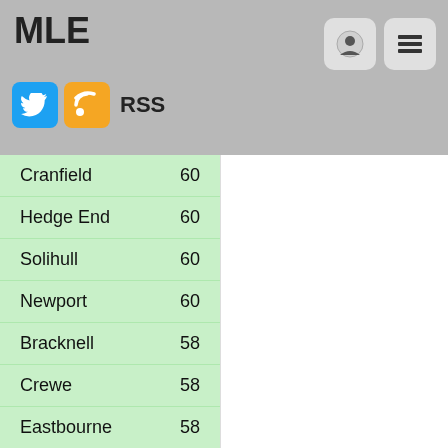MLE
| City | Score |
| --- | --- |
| Cranfield | 60 |
| Hedge End | 60 |
| Solihull | 60 |
| Newport | 60 |
| Bracknell | 58 |
| Crewe | 58 |
| Eastbourne | 58 |
| Yeovil | 58 |
| Nicosia | 56 |
| Bletchley | 56 |
| Sutton | 56 |
| Bridgend | 56 |
| Swansea | 56 |
| Amsterdam | 56 |
| Farnham | 54 |
| Gloucester | 54 |